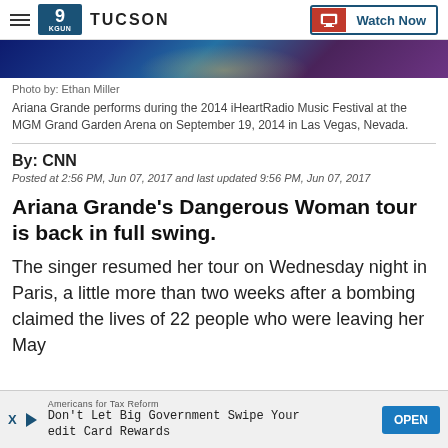9 TUCSON | Watch Now
[Figure (photo): Partial image of Ariana Grande performing at the 2014 iHeartRadio Music Festival, dark blue and purple background with sparkle/glitter effect]
Photo by: Ethan Miller
Ariana Grande performs during the 2014 iHeartRadio Music Festival at the MGM Grand Garden Arena on September 19, 2014 in Las Vegas, Nevada.
By: CNN
Posted at 2:56 PM, Jun 07, 2017 and last updated 9:56 PM, Jun 07, 2017
Ariana Grande's Dangerous Woman tour is back in full swing.
The singer resumed her tour on Wednesday night in Paris, a little more than two weeks after a bombing claimed the lives of 22 people who were leaving her May [concert in Manchester, England].
Americans for Tax Reform
Don't Let Big Government Swipe Your Credit Card Rewards
OPEN